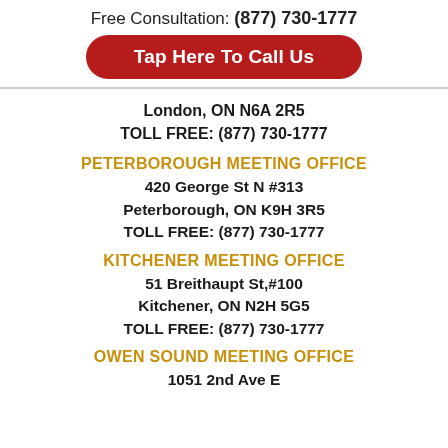Free Consultation: (877) 730-1777
Tap Here To Call Us
London, ON N6A 2R5
TOLL FREE: (877) 730-1777
PETERBOROUGH MEETING OFFICE
420 George St N #313
Peterborough, ON K9H 3R5
TOLL FREE: (877) 730-1777
KITCHENER MEETING OFFICE
51 Breithaupt St,#100
Kitchener, ON N2H 5G5
TOLL FREE: (877) 730-1777
OWEN SOUND MEETING OFFICE
1051 2nd Ave E